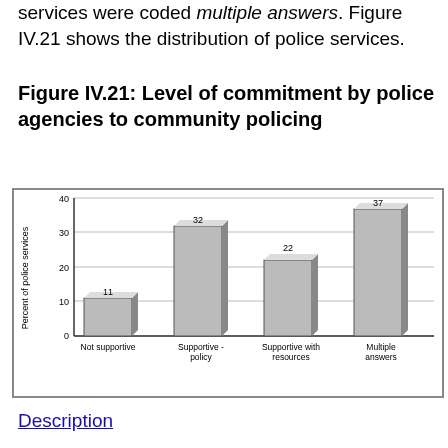services were coded multiple answers. Figure IV.21 shows the distribution of police services.
Figure IV.21: Level of commitment by police agencies to community policing
[Figure (bar-chart): Level of commitment by police agencies to community policing]
Description